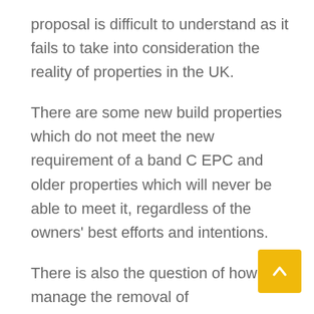proposal is difficult to understand as it fails to take into consideration the reality of properties in the UK.
There are some new build properties which do not meet the new requirement of a band C EPC and older properties which will never be able to meet it, regardless of the owners' best efforts and intentions.
There is also the question of how to manage the removal of